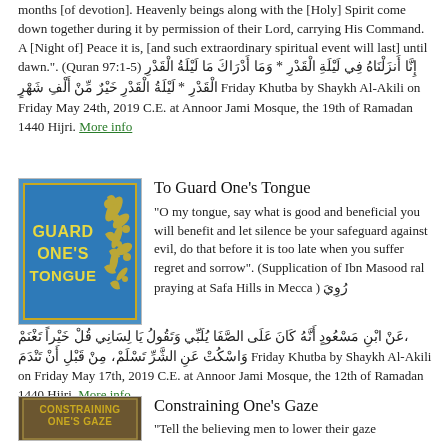months [of devotion]. Heavenly beings along with the [Holy] Spirit come down together during it by permission of their Lord, carrying His Command. A [Night of] Peace it is, [and such extraordinary spiritual event will last] until dawn.". (Quran 97:1-5) إِنَّا أَنزَلْنَاهُ فِي لَيْلَةِ الْقَدْرِ * وَمَا أَدْرَاكَ مَا لَيْلَةُ الْقَدْرِ * لَيْلَةُ الْقَدْرِ خَيْرٌ مِّنْ أَلْفِ شَهْرٍ Friday Khutba by Shaykh Al-Akili on Friday May 24th, 2019 C.E. at Annoor Jami Mosque, the 19th of Ramadan 1440 Hijri. More info
[Figure (illustration): Book cover image showing 'Guard One's Tongue' text in yellow on blue background with decorative gold floral motif]
To Guard One's Tongue
“O my tongue, say what is good and beneficial you will benefit and let silence be your safeguard against evil, do that before it is too late when you suffer regret and sorrow". (Supplication of Ibn Masood ral praying at Safa Hills in Mecca ) رُوِيَ عَنْ ابْنِ مَسْعُودٍ أَنَّهُ كَانَ عَلَى الصَّفَا يُلَبِّي وَتَقُولُ يَا لِسَانِي قُلْ خَيْراً تَغْنَمْ، وَاسْكُتْ عَنِ الشَّرِّ تَسْلَمْ، مِنْ قَبْلِ أَنْ تَنْدَمَ Friday Khutba by Shaykh Al-Akili on Friday May 17th, 2019 C.E. at Annoor Jami Mosque, the 12th of Ramadan 1440 Hijri. More info
[Figure (illustration): Book cover image showing 'Constraining One's Gaze' text on brown/tan background]
Constraining One’s Gaze
“Tell the believing men to lower their gaze